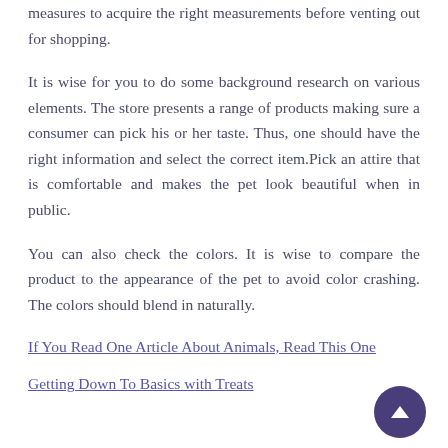measures to acquire the right measurements before venting out for shopping.
It is wise for you to do some background research on various elements. The store presents a range of products making sure a consumer can pick his or her taste. Thus, one should have the right information and select the correct item.Pick an attire that is comfortable and makes the pet look beautiful when in public.
You can also check the colors. It is wise to compare the product to the appearance of the pet to avoid color crashing. The colors should blend in naturally.
If You Read One Article About Animals, Read This One
Getting Down To Basics with Treats